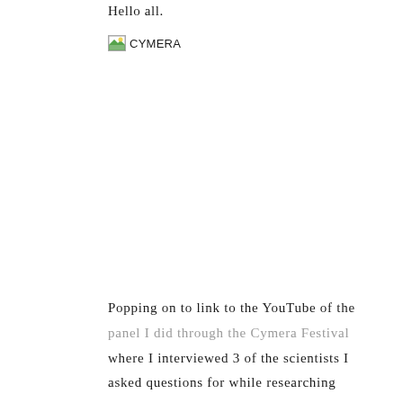Hello all.
[Figure (photo): Broken image placeholder labeled CYMERA]
Popping on to link to the YouTube of the panel I did through the Cymera Festival where I interviewed 3 of the scientists I asked questions for while researching Goldilocks. It was a great event and I enjoyed it. Bonus is you can see my mom in the video, haha! She's the redhead who looks like me, unsurprisingly.